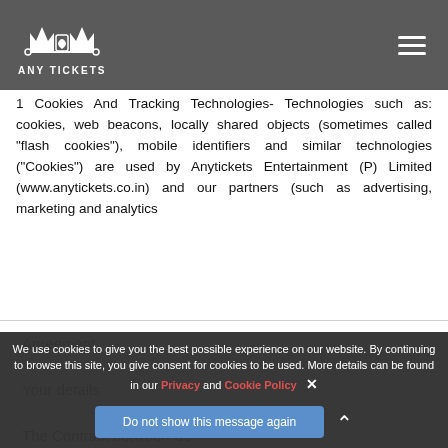ANY TICKETS
1 Cookies And Tracking Technologies- Technologies such as: cookies, web beacons, locally shared objects (sometimes called "flash cookies"), mobile identifiers and similar technologies ("Cookies") are used by Anytickets Entertainment (P) Limited (www.anytickets.co.in) and our partners (such as advertising, marketing and analytics
Agreement
Your details
The Contract between Us
Complaints
We use cookies to give you the best possible experience on our website. By continuing to browse this site, you give consent for cookies to be used. More details can be found in our Privacy and Cookie Policy
Do not show this message again